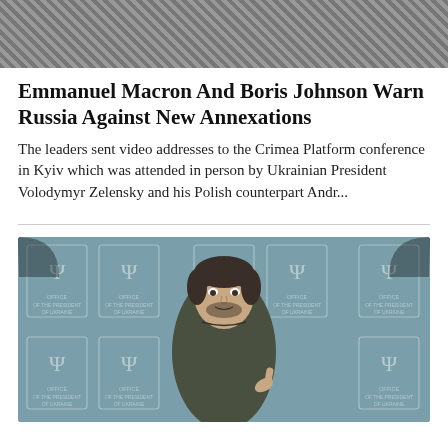[Figure (photo): Top portion of an image showing crowd/soldiers in diagonal striped pattern, partially cropped at top of page]
Emmanuel Macron And Boris Johnson Warn Russia Against New Annexations
The leaders sent video addresses to the Crimea Platform conference in Kyiv which was attended in person by Ukrainian President Volodymyr Zelensky and his Polish counterpart Andr...
[Figure (photo): Photo of Ukrainian President Volodymyr Zelensky standing in front of a teal/blue-grey background with Ukrainian presidential trident emblems. He is wearing a dark olive green shirt and gesturing with one finger raised.]